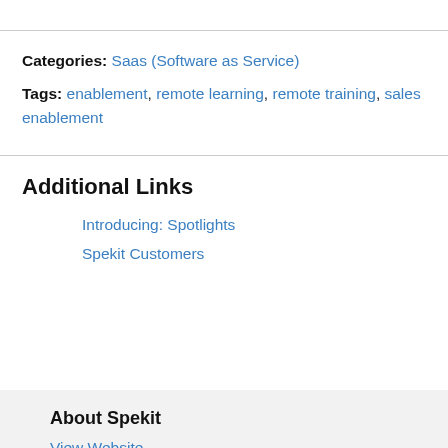Categories: Saas (Software as Service)
Tags: enablement, remote learning, remote training, sales enablement
Additional Links
Introducing: Spotlights
Spekit Customers
About Spekit
View Website